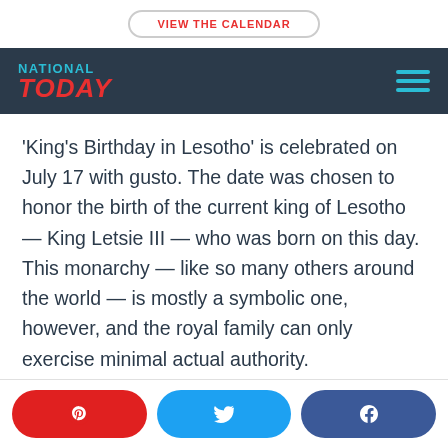VIEW THE CALENDAR
[Figure (logo): National Today logo with hamburger menu icon on dark navy background]
'King's Birthday in Lesotho' is celebrated on July 17 with gusto. The date was chosen to honor the birth of the current king of Lesotho — King Letsie III — who was born on this day. This monarchy — like so many others around the world — is mostly a symbolic one, however, and the royal family can only exercise minimal actual authority.
Pinterest share button, Twitter share button, Facebook share button